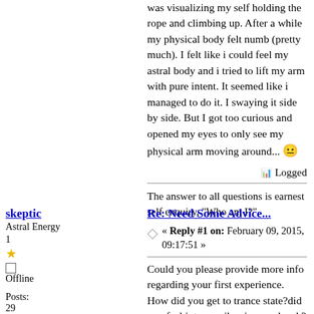was visualizing my self holding the rope and climbing up. After a while my physical body felt numb (pretty much). I felt like i could feel my astral body and i tried to lift my arm with pure intent. It seemed like i managed to do it. I swaying it side by side. But I got too curious and opened my eyes to only see my physical arm moving around... 😐
Logged
The answer to all questions is earnest self enquiry, "Who am I?"
skeptic
Astral Energy 1
Offline
Posts: 29
Re: Need Some Advice...
« Reply #1 on: February 09, 2015, 09:17:51 »
Could you please provide more info regarding your first experience. How did you get to trance state?did you feel intense vibes in your head ? Time of the experience? What did you focus on during the process etc. Just give us details please. From my